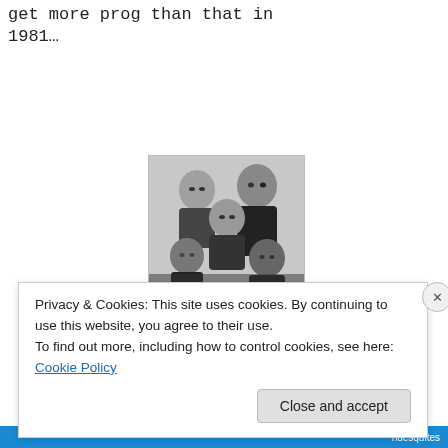get more prog than that in 1981…
[Figure (photo): Black and white group photo of five people, likely a band, posed together in a close cluster against a light background.]
Privacy & Cookies: This site uses cookies. By continuing to use this website, you agree to their use.
To find out more, including how to control cookies, see here: Cookie Policy
Close and accept